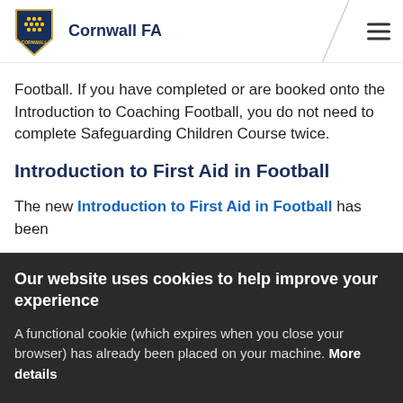Cornwall FA
Football. If you have completed or are booked onto the Introduction to Coaching Football, you do not need to complete Safeguarding Children Course twice.
Introduction to First Aid in Football
The new Introduction to First Aid in Football has been
Our website uses cookies to help improve your experience
A functional cookie (which expires when you close your browser) has already been placed on your machine. More details
ACCEPT COOKIES